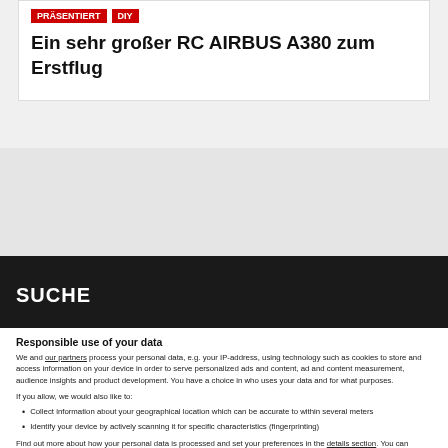PRÄSENTIERT | DIY
Ein sehr großer RC AIRBUS A380 zum Erstflug
SUCHE
Responsible use of your data
We and our partners process your personal data, e.g. your IP-address, using technology such as cookies to store and access information on your device in order to serve personalized ads and content, ad and content measurement, audience insights and product development. You have a choice in who uses your data and for what purposes.
If you allow, we would also like to:
Collect information about your geographical location which can be accurate to within several meters
Identify your device by actively scanning it for specific characteristics (fingerprinting)
Find out more about how your personal data is processed and set your preferences in the details section. You can change or withdraw your consent any time from the Cookie Declaration.